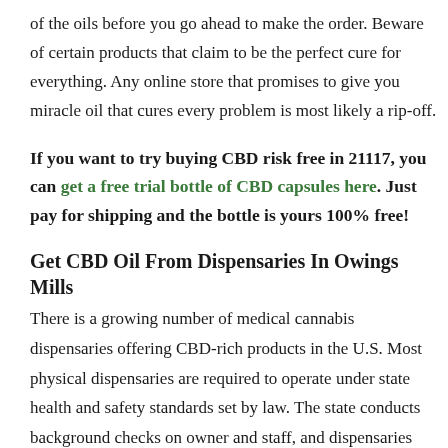of the oils before you go ahead to make the order. Beware of certain products that claim to be the perfect cure for everything. Any online store that promises to give you miracle oil that cures every problem is most likely a rip-off.
If you want to try buying CBD risk free in 21117, you can get a free trial bottle of CBD capsules here. Just pay for shipping and the bottle is yours 100% free!
Get CBD Oil From Dispensaries In Owings Mills
There is a growing number of medical cannabis dispensaries offering CBD-rich products in the U.S. Most physical dispensaries are required to operate under state health and safety standards set by law. The state conducts background checks on owner and staff, and dispensaries